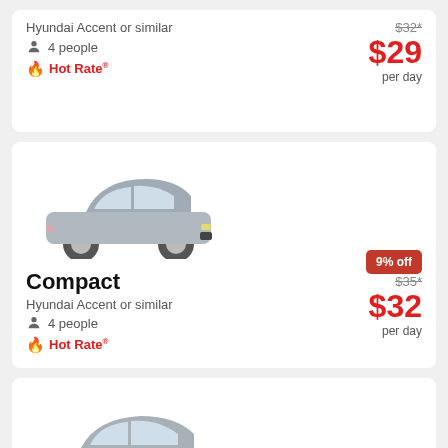Hyundai Accent or similar
4 people
Hot Rate
$32* $29 per day
[Figure (photo): Silver compact car (Hyundai Accent)]
Compact
Hyundai Accent or similar
4 people
Hot Rate
9% off $35* $32 per day
[Figure (photo): Silver midsize sedan (Toyota Corolla or similar)]
Midsize (Manual)
9% off